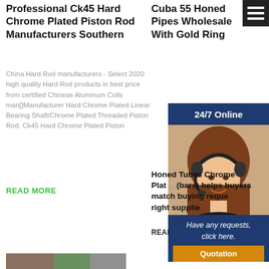Professional Ck45 Hard Chrome Plated Piston Rod Manufacturers Southern
Cuba 55 Honed Pipes Wholesale With Gold Ring
China Hard Rod manufacturers - Select 2020 high quality Hard Rod products in best price from certified Chinese Aluminum Coils man[]Manufacturer Hard Chrome Plated Linear Bearing Shaft/Chrome Plated Threaded Piston Rod. Ck45 Hard Chrome Plated Piston
READ MORE
[Figure (infographic): Navy blue banner with white text '24/7 Online']
[Figure (photo): Customer service woman wearing a headset, smiling]
Honed Tubes Chrome Plated (bars) helps buyers match buying requirements to right suppliers
READ MORE
Have any requests, click here.
Quotation
[Figure (photo): Bottom image strip, partially visible]